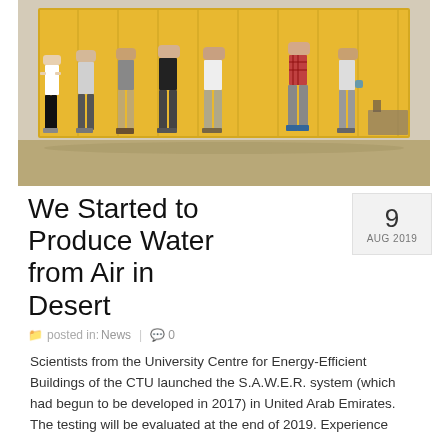[Figure (photo): Group of people (approximately 7 men) standing in front of a yellow shipping container outdoors in a sunny location, wearing casual summer clothes and shorts]
We Started to Produce Water from Air in Desert
9 AUG 2019
posted in: News  |  0
Scientists from the University Centre for Energy-Efficient Buildings of the CTU launched the S.A.W.E.R. system (which had begun to be developed in 2017) in United Arab Emirates. The testing will be evaluated at the end of 2019. Experience